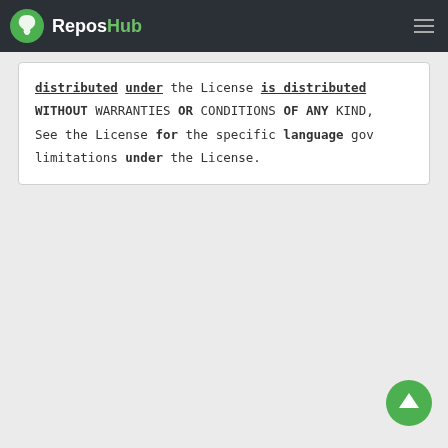ReposHub
distributed under the License is distributed WITHOUT WARRANTIES OR CONDITIONS OF ANY KIND, See the License for the specific language gov limitations under the License.
[Figure (illustration): Green scroll-to-top arrow button circle in bottom right corner]